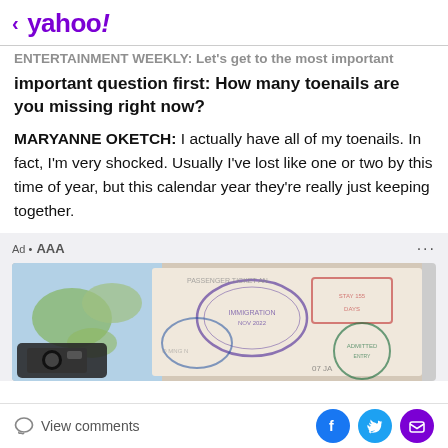< yahoo!
ENTERTAINMENT WEEKLY: Let's get to the most important question first: How many toenails are you missing right now?
MARYANNE OKETCH: I actually have all of my toenails. In fact, I'm very shocked. Usually I've lost like one or two by this time of year, but this calendar year they're really just keeping together.
[Figure (photo): Ad for AAA showing a passport with travel stamps and a world map, with a camera visible]
View comments | Facebook share | Twitter share | Email share